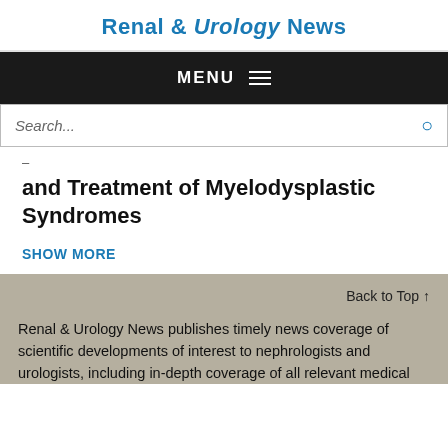Renal & Urology News
MENU
Search...
and Treatment of Myelodysplastic Syndromes
SHOW MORE
Back to Top ↑
Renal & Urology News publishes timely news coverage of scientific developments of interest to nephrologists and urologists, including in-depth coverage of all relevant medical